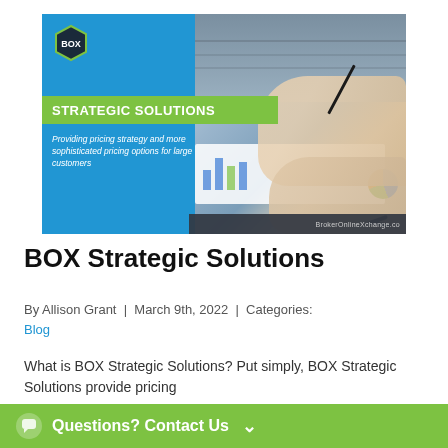[Figure (illustration): BOX Strategic Solutions promotional banner image with blue background, green 'STRATEGIC SOLUTIONS' banner, tagline text 'Providing pricing strategy and more sophisticated pricing options for large customers', BOX hexagon logo top left, and a photo of hands writing/working on financial documents with charts on the right side. BrokerOnlineXchange.co watermark in dark footer bar.]
BOX Strategic Solutions
By Allison Grant | March 9th, 2022 | Categories: Blog
What is BOX Strategic Solutions? Put simply, BOX Strategic Solutions provide pricing
Questions? Contact Us